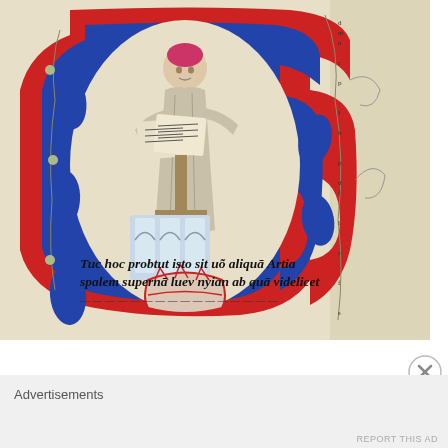[Figure (illustration): A medieval illuminated manuscript page showing a figure wearing a red/pink cap and dark robes, seated at a lectern holding an open book. The figure is surrounded by a large decorative initial letter 'C' or 'G' in red and blue. The letter contains blue ornamental teardrop/leaf shapes. The lower portion shows Gothic black-letter text reading 'Tuc hoc probtut isto sit uon aliqua Artia spalem superna luev nyian ab qua videlicet...' The right margin of the manuscript shows additional text columns with decorative flourishes. The background is parchment-colored with vine scroll marginalia.]
[Figure (other): A circular close/dismiss button (X) in gray]
Advertisements